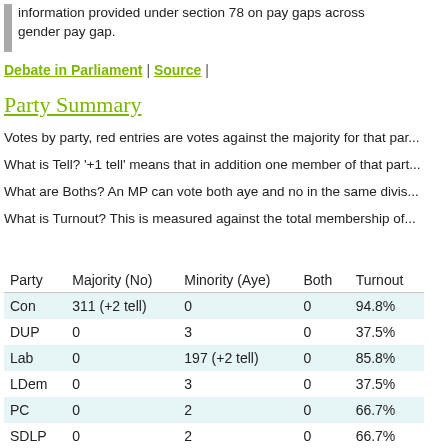information provided under section 78 on pay gaps across gender pay gap.
Debate in Parliament | Source |
Party Summary
Votes by party, red entries are votes against the majority for that party.
What is Tell? '+1 tell' means that in addition one member of that party...
What are Boths? An MP can vote both aye and no in the same division.
What is Turnout? This is measured against the total membership of...
| Party | Majority (No) | Minority (Aye) | Both | Turnout |
| --- | --- | --- | --- | --- |
| Con | 311 (+2 tell) | 0 | 0 | 94.8% |
| DUP | 0 | 3 | 0 | 37.5% |
| Lab | 0 | 197 (+2 tell) | 0 | 85.8% |
| LDem | 0 | 3 | 0 | 37.5% |
| PC | 0 | 2 | 0 | 66.7% |
| SDLP | 0 | 2 | 0 | 66.7% |
| SNP | 0 | 54 | 0 | 96.4% |